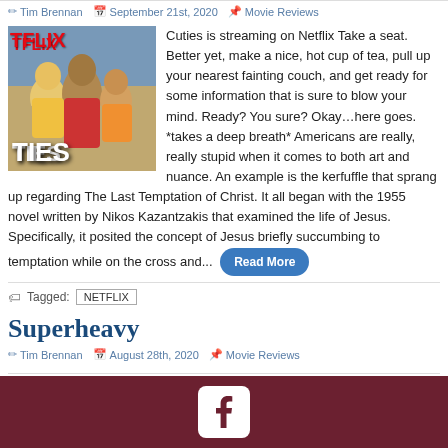Tim Brennan  September 21st, 2020  Movie Reviews
[Figure (photo): Netflix movie poster for Cuties showing three young girls, with red NETFLIX text at top left and white TIES text at bottom left]
Cuties is streaming on Netflix Take a seat. Better yet, make a nice, hot cup of tea, pull up your nearest fainting couch, and get ready for some information that is sure to blow your mind. Ready? You sure? Okay…here goes. *takes a deep breath* Americans are really, really stupid when it comes to both art and nuance. An example is the kerfuffle that sprang up regarding The Last Temptation of Christ. It all began with the 1955 novel written by Nikos Kazantzakis that examined the life of Jesus. Specifically, it posited the concept of Jesus briefly succumbing to temptation while on the cross and...
Tagged:  NETFLIX
Superheavy
Tim Brennan  August 28th, 2020  Movie Reviews
Facebook icon